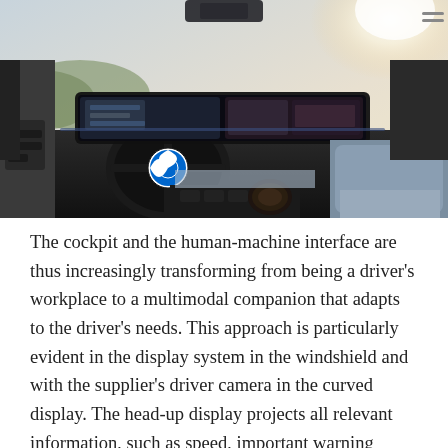[Figure (photo): Interior photograph of a BMW iX cockpit showing the curved widescreen display, BMW logo steering wheel, and light-colored upholstery interior]
The cockpit and the human-machine interface are thus increasingly transforming from being a driver's workplace to a multimodal companion that adapts to the driver's needs. This approach is particularly evident in the display system in the windshield and with the supplier's driver camera in the curved display. The head-up display projects all relevant information, such as speed, important warning messages and navigation arrows, in the direct field of vision of the driver, keeping your eyes on the road and close to the traffic. The driver camera in